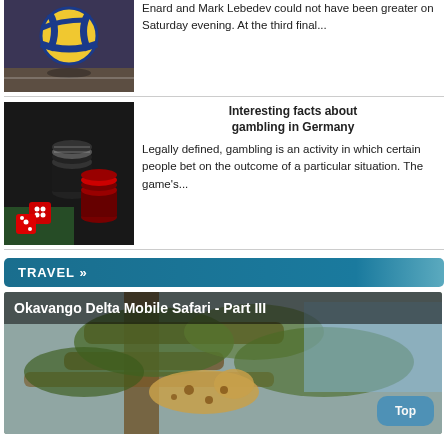[Figure (photo): Volleyball on a gym floor]
Enard and Mark Lebedev could not have been greater on Saturday evening. At the third final...
[Figure (photo): Casino chips and red dice on a dark surface with green felt]
Interesting facts about gambling in Germany
Legally defined, gambling is an activity in which certain people bet on the outcome of a particular situation. The game's...
TRAVEL »
[Figure (photo): Okavango Delta Mobile Safari - Part III: Leopard resting in a tree]
Top